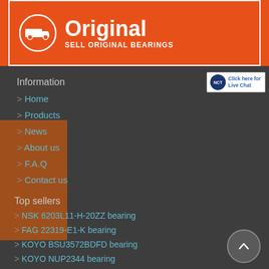[Figure (logo): Orange banner with truck icon in white circle, large bold white text 'Original' and subtitle 'SELL ORIGINAL BEARINGS']
[Figure (other): Live chat button with NCT logo icon and 'Click here for Live Chat' text]
Information
Home
Products
News
About us
F.A.Q
Contact us
Top sellers
NSK 6203L11-H-20ZZ bearing
FAG 22319-E1-K bearing
KOYO BSU3572BDFD bearing
KOYO NUP2344 bearing